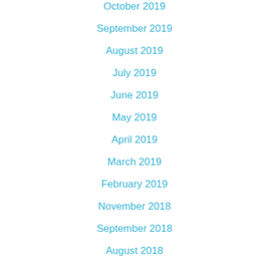October 2019
September 2019
August 2019
July 2019
June 2019
May 2019
April 2019
March 2019
February 2019
November 2018
September 2018
August 2018